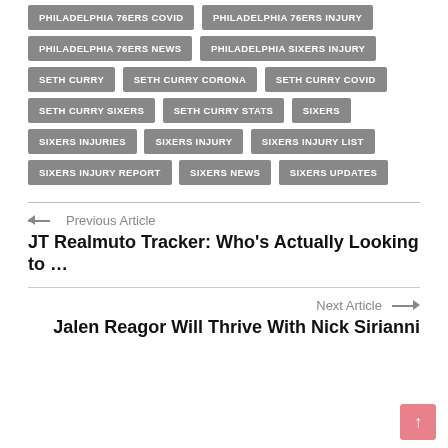PHILADELPHIA 76ERS COVID
PHILADELPHIA 76ERS INJURY
PHILADELPHIA 76ERS NEWS
PHILADELPHIA SIXERS INJURY
SETH CURRY
SETH CURRY CORONA
SETH CURRY COVID
SETH CURRY SIXERS
SETH CURRY STATS
SIXERS
SIXERS INJURIES
SIXERS INJURY
SIXERS INJURY LIST
SIXERS INJURY REPORT
SIXERS NEWS
SIXERS UPDATES
← Previous Article
JT Realmuto Tracker: Who's Actually Looking to …
Next Article →
Jalen Reagor Will Thrive With Nick Sirianni